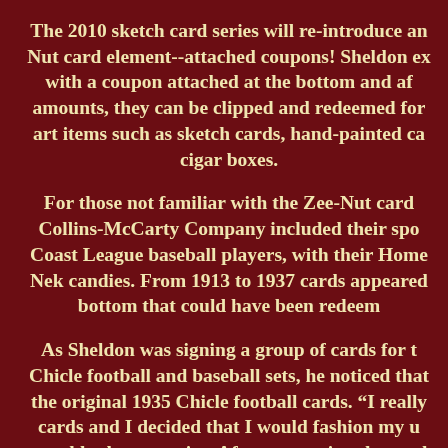The 2010 sketch card series will re-introduce an Zee-Nut card element--attached coupons! Sheldon experimented with a coupon attached at the bottom and after varying amounts, they can be clipped and redeemed for original art items such as sketch cards, hand-painted cards, and cigar boxes.
For those not familiar with the Zee-Nut cards, the Collins-McCarty Company included their sports, Pacific Coast League baseball players, with their Home Run Nek candies. From 1913 to 1937 cards appeared with a coupon at the bottom that could have been redeemed for prizes.
As Sheldon was signing a group of cards for the 1935 Chicle football and baseball sets, he noticed that his sketches resembled the original 1935 Chicle football cards. "I really liked those cards and I decided that I would fashion my unsigned cards to be roughly the same size. After measuring the cards I noticed that I would have to trim about 5/8" off